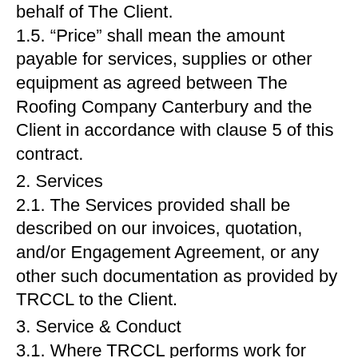behalf of The Client.
1.5. “Price” shall mean the amount payable for services, supplies or other equipment as agreed between The Roofing Company Canterbury and the Client in accordance with clause 5 of this contract.
2. Services
2.1. The Services provided shall be described on our invoices, quotation, and/or Engagement Agreement, or any other such documentation as provided by TRCCL to the Client.
3. Service & Conduct
3.1. Where TRCCL performs work for you, it will ensure that competent and suitably experienced personnel carry out all work, in a professional manner and in